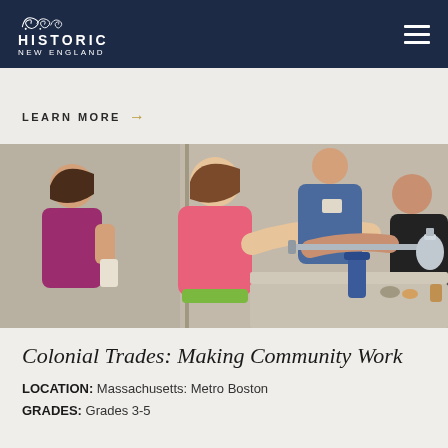Historic New England
LEARN MORE →
[Figure (photo): Children and adults engaged in a colonial trades activity; a girl in a pink jacket reaches toward a metal rod held by a person across a table with colonial-era objects.]
Colonial Trades: Making Community Work
LOCATION: Massachusetts: Metro Boston
GRADES: Grades 3-5